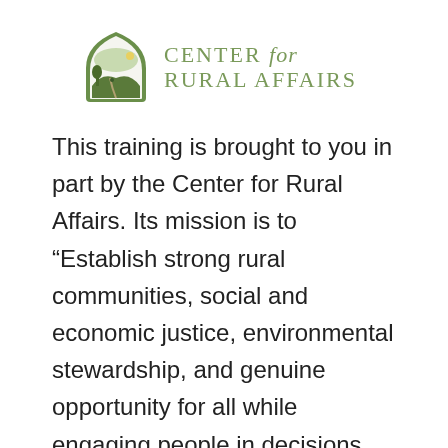[Figure (logo): Center for Rural Affairs logo: green arched emblem with landscape scene on the left, and 'CENTER for RURAL AFFAIRS' text in green on the right]
This training is brought to you in part by the Center for Rural Affairs. Its mission is to “Establish strong rural communities, social and economic justice, environmental stewardship, and genuine opportunity for all while engaging people in decisions that affect the quality of their lives and